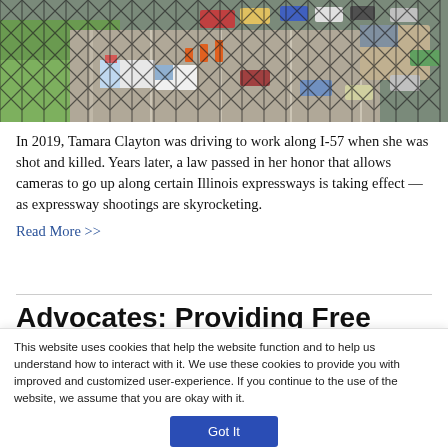[Figure (photo): Aerial view of a busy expressway with multiple lanes of traffic, emergency vehicles, and orange traffic cones, photographed through a chain-link fence in the foreground. Green grass median visible on the left, large truck and ambulance visible on the right.]
In 2019, Tamara Clayton was driving to work along I-57 when she was shot and killed. Years later, a law passed in her honor that allows cameras to go up along certain Illinois expressways is taking effect — as expressway shootings are skyrocketing.
Read More >>
Advocates: Providing Free Feminine
This website uses cookies that help the website function and to help us understand how to interact with it. We use these cookies to provide you with improved and customized user-experience. If you continue to the use of the website, we assume that you are okay with it.
Got It